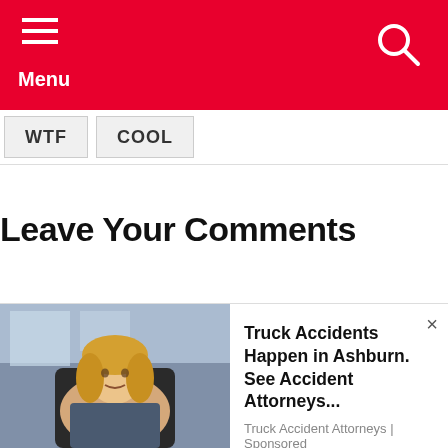Menu
WTF
COOL
Leave Your Comments
[Figure (photo): Advertisement: Woman in business attire sitting at desk in office. Text: Truck Accidents Happen in Ashburn. See Accident Attorneys... | Truck Accident Attorneys | Sponsored]